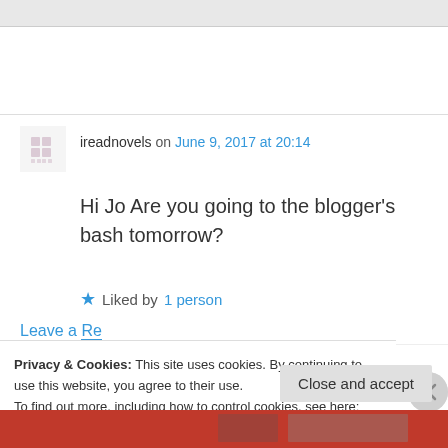[Figure (screenshot): Top grey navigation bar of a website]
ireadnovels on June 9, 2017 at 20:14
Hi Jo Are you going to the blogger's bash tomorrow?
Liked by 1 person
Privacy & Cookies: This site uses cookies. By continuing to use this website, you agree to their use.
To find out more, including how to control cookies, see here: Cookie Policy
Close and accept